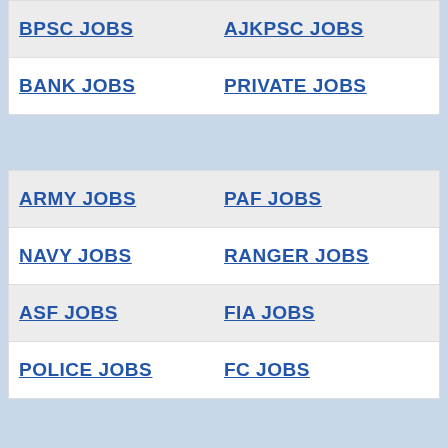BPSC JOBS
AJKPSC JOBS
BANK JOBS
PRIVATE JOBS
ARMY JOBS
PAF JOBS
NAVY JOBS
RANGER JOBS
ASF JOBS
FIA JOBS
POLICE JOBS
FC JOBS
WAPDA JOBS
RAILWAY JOBS